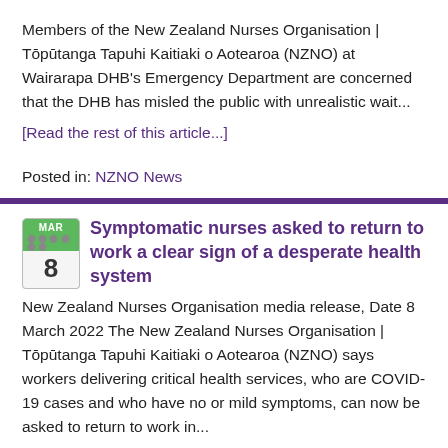Members of the New Zealand Nurses Organisation | Tōpūtanga Tapuhi Kaitiaki o Aotearoa (NZNO) at Wairarapa DHB's Emergency Department are concerned that the DHB has misled the public with unrealistic wait...
[Read the rest of this article...]
Posted in: NZNO News
Symptomatic nurses asked to return to work a clear sign of a desperate health system
New Zealand Nurses Organisation media release, Date 8 March 2022 The New Zealand Nurses Organisation | Tōpūtanga Tapuhi Kaitiaki o Aotearoa (NZNO) says workers delivering critical health services, who are COVID-19 cases and who have no or mild symptoms, can now be asked to return to work in...
[Read the rest of this article...]